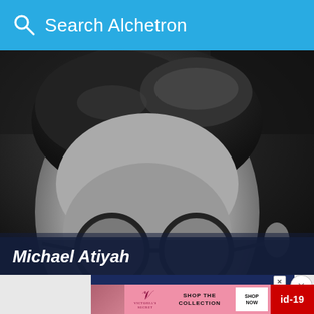Search Alchetron
[Figure (photo): Black and white close-up portrait photo of Michael Atiyah wearing round glasses, dark background]
Michael Atiyah
[Figure (screenshot): Advertisement banner: Victoria's Secret 'Shop The Collection' ad with woman's photo, VS logo, Shop Now button, and a partial red banner on the right reading 'id-19']